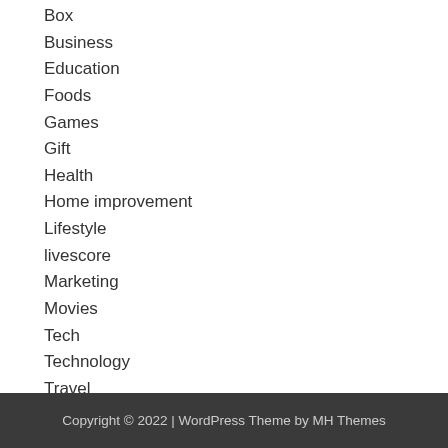Box
Business
Education
Foods
Games
Gift
Health
Home improvement
Lifestyle
livescore
Marketing
Movies
Tech
Technology
Travel
Uncategorized
Copyright © 2022 | WordPress Theme by MH Themes